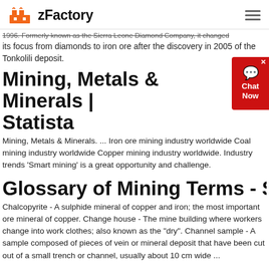zFactory
1996. Formerly known as the Sierra Leone Diamond Company, it changed its focus from diamonds to iron ore after the discovery in 2005 of the Tonkolili deposit.
Mining, Metals & Minerals | Statista
Mining, Metals & Minerals. ... Iron ore mining industry worldwide Coal mining industry worldwide Copper mining industry worldwide. Industry trends 'Smart mining' is a great opportunity and challenge.
Glossary of Mining Terms - SEC
Chalcopyrite - A sulphide mineral of copper and iron; the most important ore mineral of copper. Change house - The mine building where workers change into work clothes; also known as the "dry". Channel sample - A sample composed of pieces of vein or mineral deposit that have been cut out of a small trench or channel, usually about 10 cm wide ...
Mining and Min...